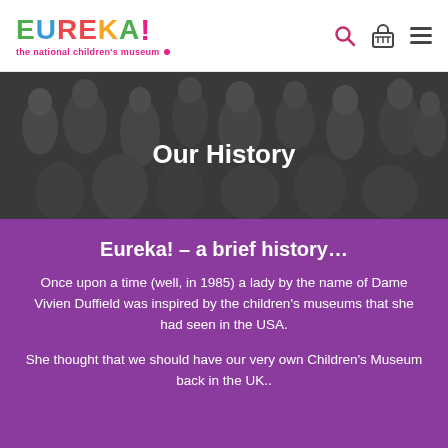EUREKA! the national children's museum – navigation header with search, cart, and menu icons
[Figure (photo): Black and white photograph of a crowd of people (children and adults) in a museum space, with overlay text 'Our History']
Our History
Eureka! – a brief history…
Once upon a time (well, in 1985) a lady by the name of Dame Vivien Duffield was inspired by the children's museums that she had seen in the USA.
She thought that we should have our very own Children's Museum back in the UK..